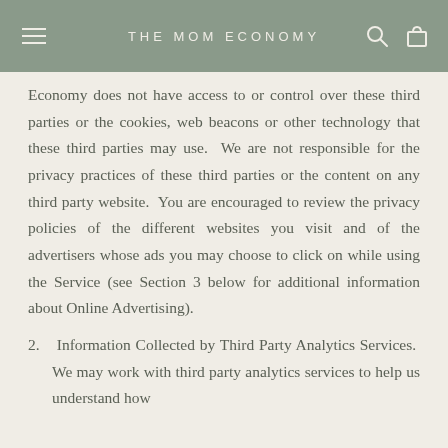THE MOM ECONOMY
Economy does not have access to or control over these third parties or the cookies, web beacons or other technology that these third parties may use.  We are not responsible for the privacy practices of these third parties or the content on any third party website.  You are encouraged to review the privacy policies of the different websites you visit and of the advertisers whose ads you may choose to click on while using the Service (see Section 3 below for additional information about Online Advertising).
2. Information Collected by Third Party Analytics Services.  We may work with third party analytics services to help us understand how